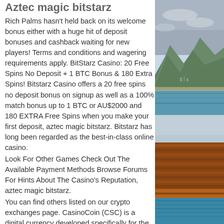Aztec magic bitstarz
Rich Palms hasn't held back on its welcome bonus either with a huge hit of deposit bonuses and cashback waiting for new players! Terms and conditions and wagering requirements apply. BitStarz Casino: 20 Free Spins No Deposit + 1 BTC Bonus & 180 Extra Spins! Bitstarz Casino offers a 20 free spins no deposit bonus on signup as well as a 100% match bonus up to 1 BTC or AU$2000 and 180 EXTRA Free Spins when you make your first deposit, aztec magic bitstarz. Bitstarz has long been regarded as the best-in-class online casino.
Look For Other Games Check Out The Available Payment Methods Browse Forums For Hints About The Casino's Reputation, aztec magic bitstarz.
You can find others listed on our crypto exchanges page. CasinoCoin (CSC) is a digital currency developed specifically for the regulated gaming industry. CasinoCoin aims
[Figure (photo): Outdoor scenic photo showing mountains, water/sea, and sky with clouds]
[Figure (photo): Photo showing a pool or waterfront structure with reddish-brown wooden elements and blue water]